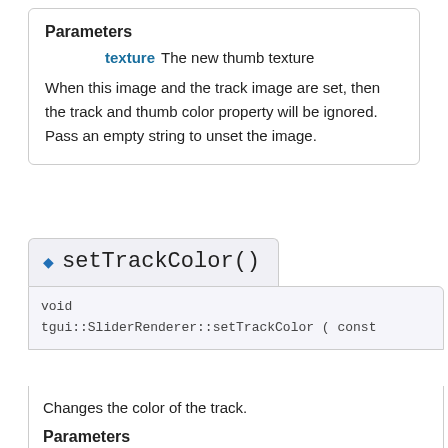Parameters
texture  The new thumb texture
When this image and the track image are set, then the track and thumb color property will be ignored. Pass an empty string to unset the image.
setTrackColor()
void
tgui::SliderRenderer::setTrackColor( const
Changes the color of the track.
Parameters
color  New track color
This color will overwrite the color for both the normal